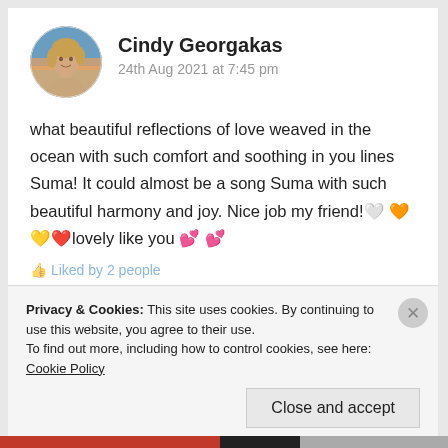Cindy Georgakas
24th Aug 2021 at 7:45 pm
what beautiful reflections of love weaved in the ocean with such comfort and soothing in you lines Suma! It could almost be a song Suma with such beautiful harmony and joy. Nice job my friend!🤍🧡💛lovely like you 💕 💕
Liked by 2 people
Privacy & Cookies: This site uses cookies. By continuing to use this website, you agree to their use.
To find out more, including how to control cookies, see here: Cookie Policy
Close and accept